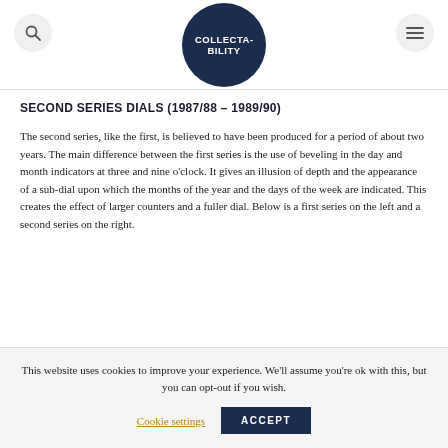COLLECTABILITY
SECOND SERIES DIALS (1987/88 – 1989/90)
The second series, like the first, is believed to have been produced for a period of about two years. The main difference between the first series is the use of beveling in the day and month indicators at three and nine o'clock. It gives an illusion of depth and the appearance of a sub-dial upon which the months of the year and the days of the week are indicated. This creates the effect of larger counters and a fuller dial. Below is a first series on the left and a second series on the right.
This website uses cookies to improve your experience. We'll assume you're ok with this, but you can opt-out if you wish.
Cookie settings   ACCEPT